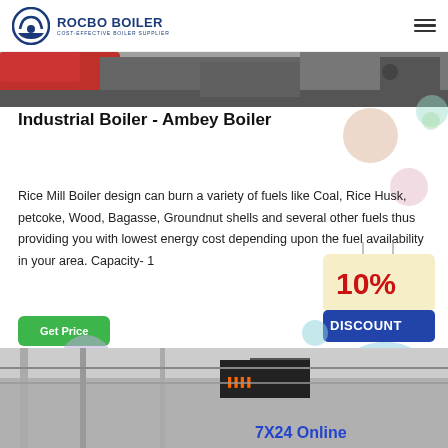ROCBO BOILER - COST-EFFECTIVE BOILER SUPPLIER
[Figure (photo): Top banner image showing industrial boiler equipment in dark/grey tones]
Industrial Boiler - Ambey Boiler
Rice Mill Boiler design can burn a variety of fuels like Coal, Rice Husk, petcoke, Wood, Bagasse, Groundnut shells and several other fuels thus providing you with lowest energy cost depending upon the fuel availability in your area. Capacity- 1
[Figure (infographic): 10% DISCOUNT promotional badge in red and cream colors with hanging tag style]
[Figure (photo): Customer service representative woman with headset smiling, circular cropped photo]
[Figure (photo): Bottom banner image showing industrial building interior with '7X24 Online' text overlay]